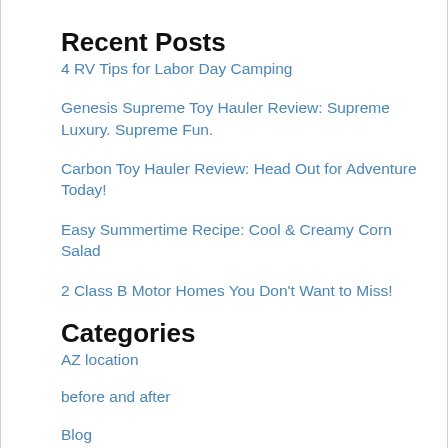Recent Posts
4 RV Tips for Labor Day Camping
Genesis Supreme Toy Hauler Review: Supreme Luxury. Supreme Fun.
Carbon Toy Hauler Review: Head Out for Adventure Today!
Easy Summertime Recipe: Cool & Creamy Corn Salad
2 Class B Motor Homes You Don't Want to Miss!
Categories
AZ location
before and after
Blog